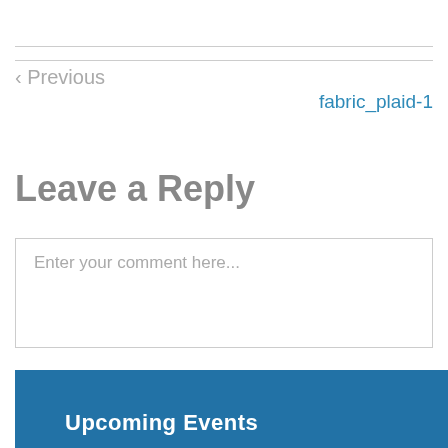< Previous
fabric_plaid-1
Leave a Reply
Enter your comment here...
Upcoming Events